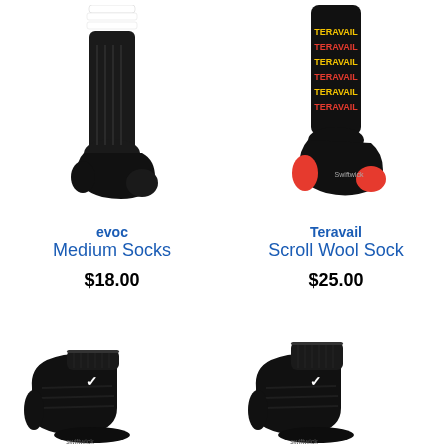[Figure (photo): Black crew-length sock with two white stripes at the top, standing upright on a white background. Brand: evoc.]
evoc
Medium Socks
$18.00
[Figure (photo): Black cycling sock with red heel and toe, and yellow/red 'TERAVAIL' text repeated vertically on the calf portion.]
Teravail
Scroll Wool Sock
$25.00
[Figure (photo): Black low-cut ankle sock with white Swiftwick bird logo on the top, ribbed texture, shown from the side.]
[Figure (photo): Black low-cut ankle sock with white Swiftwick bird logo on the top, ribbed texture, shown from the side.]